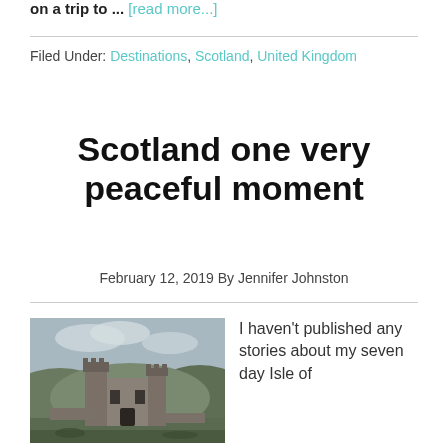on a trip to ... [read more...]
Filed Under: Destinations, Scotland, United Kingdom
Scotland one very peaceful moment
February 12, 2019 By Jennifer Johnston
[Figure (photo): Photo of a Scottish castle ruin with stone walls, surrounded by hills and overcast sky]
I haven't published any stories about my seven day Isle of